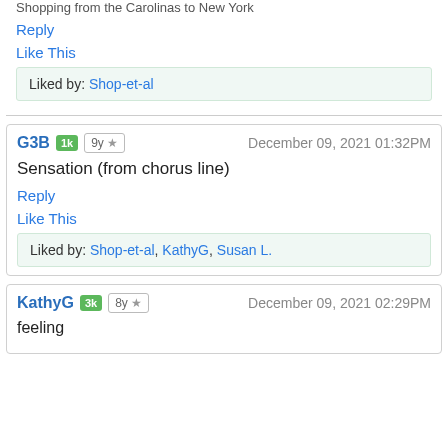Shopping from the Carolinas to New York
Reply
Like This
Liked by: Shop-et-al
G3B 1k 9y ★  December 09, 2021 01:32PM
Sensation (from chorus line)
Reply
Like This
Liked by: Shop-et-al, KathyG, Susan L.
KathyG 3k 8y ★  December 09, 2021 02:29PM
feeling